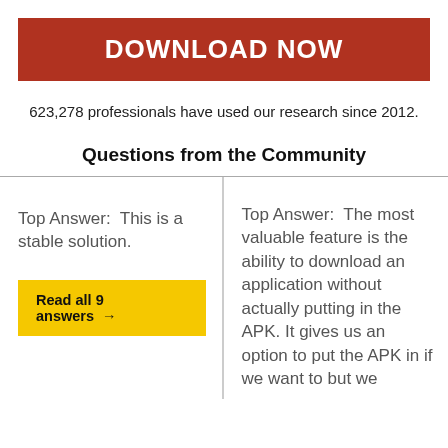DOWNLOAD NOW
623,278 professionals have used our research since 2012.
Questions from the Community
Top Answer:  This is a stable solution.
Read all 9 answers →
Top Answer:  The most valuable feature is the ability to download an application without actually putting in the APK. It gives us an option to put the APK in if we want to but we